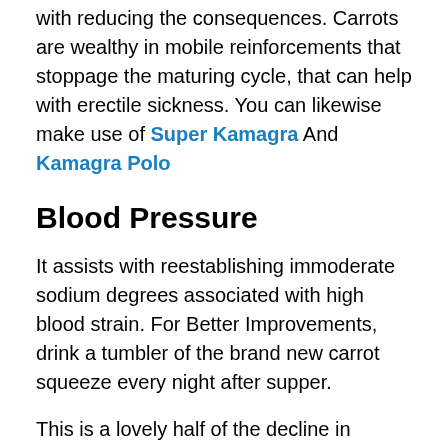with reducing the consequences. Carrots are wealthy in mobile reinforcements that stoppage the maturing cycle, that can help with erectile sickness. You can likewise make use of Super Kamagra And Kamagra Polo
Blood Pressure
It assists with reestablishing immoderate sodium degrees associated with high blood strain. For Better Improvements, drink a tumbler of the brand new carrot squeeze every night after supper.
This is a lovely half of the decline in prostate ailment dangers. Kamagra Oral Jelly Investigates displays that prostate sickness sufferers have plain tiers of nutrient A. An examination placed that guys with the prostate illness have a 5% lower threat of creating it on the off risk that they eat 10g daily, or an entire week's properly well worth. To partake in a